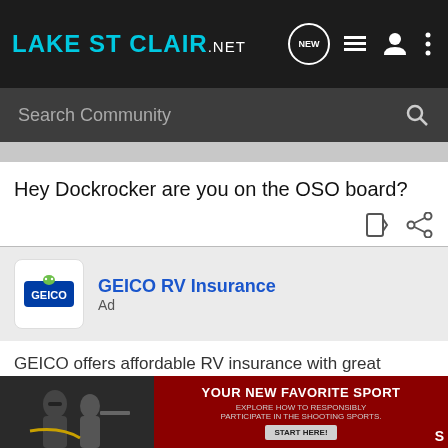LAKE ST CLAIR.NET
Search Community
Hey Dockrocker are you on the OSO board?
GEICO RV Insurance
Ad
GEICO offers affordable RV insurance with great coverage for your needs
Get an RV insurance quote. Save today. Vacation tomorrow.
Make sure you have the right recreational vehicle (RV) insurance policy for your next trip
[Figure (photo): Bottom banner advertisement showing people at a shooting sports range with red background text 'YOUR NEW FAVORITE SPORT - EXPLORE HOW TO RESPONSIBLY PARTICIPATE IN THE SHOOTING SPORTS. START HERE!']